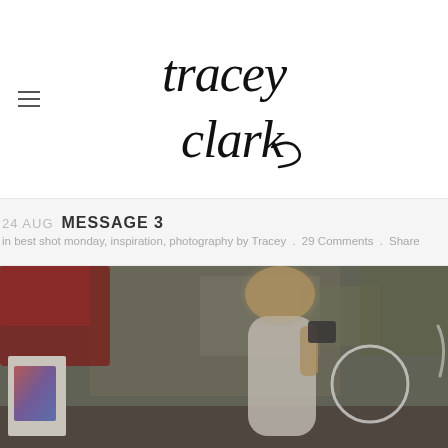tracey clark
24 AUG MESSAGE 3
in best shot monday, inspiration, photography by Tracey . 29 Comments . Share
[Figure (photo): Blurry outdoor photo of a woman with blonde hair holding something to her face, with a red car on the left, a sign at lower left, and a white circle overlay on the right side.]